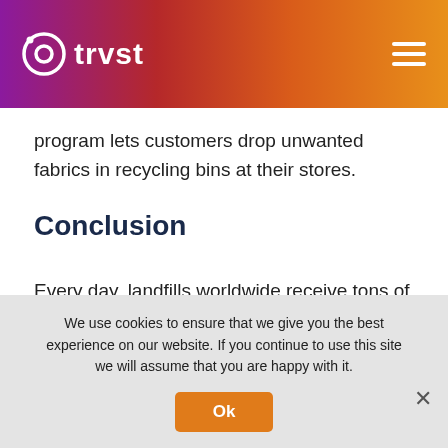trvst
program lets customers drop unwanted fabrics in recycling bins at their stores.
Conclusion
Every day, landfills worldwide receive tons of discarded clothing, shoes, and accessories. Most of these items still have some use in them, as
We use cookies to ensure that we give you the best experience on our website. If you continue to use this site we will assume that you are happy with it.